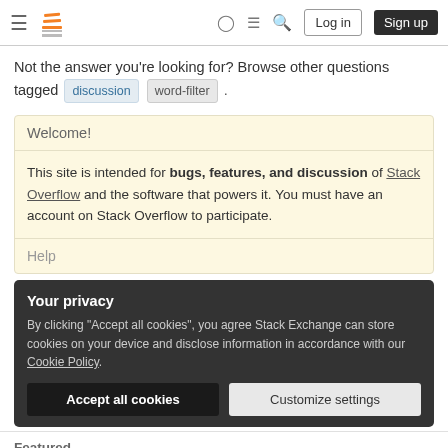Stack Overflow Meta — navigation bar with Log in and Sign up buttons
Not the answer you're looking for? Browse other questions tagged discussion word-filter .
Welcome!
This site is intended for bugs, features, and discussion of Stack Overflow and the software that powers it. You must have an account on Stack Overflow to participate.
Help
Your privacy
By clicking "Accept all cookies", you agree Stack Exchange can store cookies on your device and disclose information in accordance with our Cookie Policy.
Featured